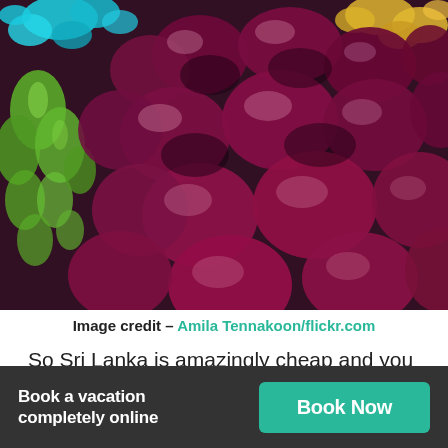[Figure (photo): Close-up photo of colorful gemstones: predominantly deep purple/red garnets in the center and foreground, with green peridot crystals on the left, blue gems at top left, and golden/amber gems at top right.]
Image credit – Amila Tennakoon/flickr.com
So Sri Lanka is amazingly cheap and you still have money left that you can spend? Go on a shopping spree at the Ratnapura Gem Market. Regarded as the heart of the mining industry, Ratnapura – the city
Book a vacation completely online
Book Now